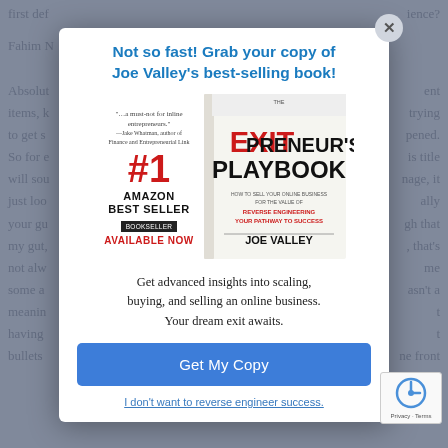Not so fast! Grab your copy of Joe Valley's best-selling book!
[Figure (photo): Book cover of 'The Exitpreneur's Playbook' by Joe Valley with #1 Amazon Best Seller badge and 'Available Now' text]
Get advanced insights into scaling, buying, and selling an online business. Your dream exit awaits.
Get My Copy
I don't want to reverse engineer success.